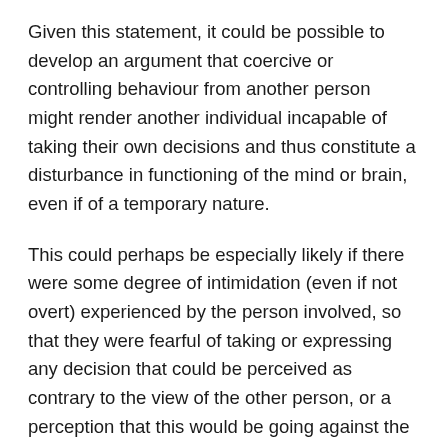Given this statement, it could be possible to develop an argument that coercive or controlling behaviour from another person might render another individual incapable of taking their own decisions and thus constitute a disturbance in functioning of the mind or brain, even if of a temporary nature.
This could perhaps be especially likely if there were some degree of intimidation (even if not overt) experienced by the person involved, so that they were fearful of taking or expressing any decision that could be perceived as contrary to the view of the other person, or a perception that this would be going against the rules that they need to follow, that have been developed by the perpetrator (Pike, 2016). This could apply even if the total immersion of individual identity into another's identity does not take place.